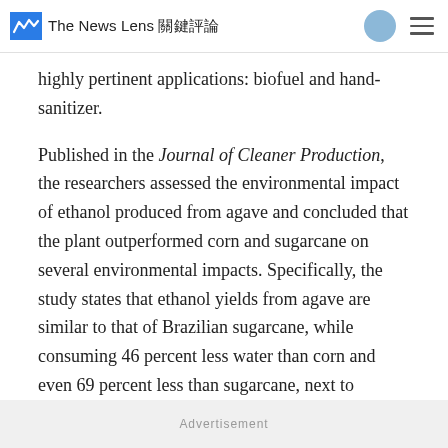The News Lens 關鍵評論
highly pertinent applications: biofuel and hand-sanitizer.
Published in the Journal of Cleaner Production, the researchers assessed the environmental impact of ethanol produced from agave and concluded that the plant outperformed corn and sugarcane on several environmental impacts. Specifically, the study states that ethanol yields from agave are similar to that of Brazilian sugarcane, while consuming 46 percent less water than corn and even 69 percent less than sugarcane, next to showing less of a host of other water-related
Advertisement